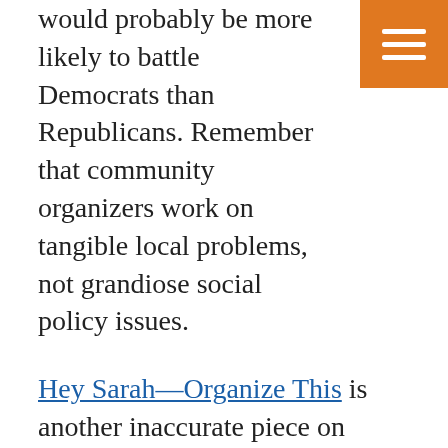would probably be more likely to battle Democrats than Republicans. Remember that community organizers work on tangible local problems, not grandiose social policy issues.
Hey Sarah—Organize This is another inaccurate piece on community organizing. This one is by Thomas Geoghegan and appeared in Slate. Mr. Geoghegan takes Governor Sarah Palin to task for making fun of community organizers. Leaving aside the politics, community organizers must have very thick skins and good sense of humor...